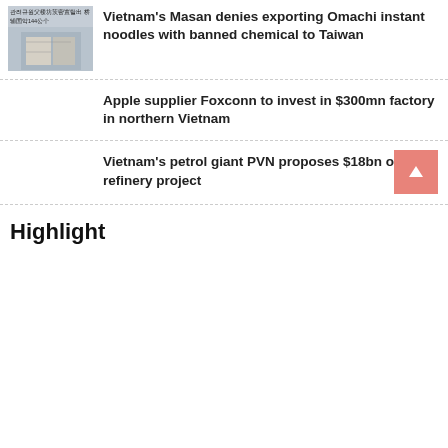Vietnam's Masan denies exporting Omachi instant noodles with banned chemical to Taiwan
Apple supplier Foxconn to invest in $300mn factory in northern Vietnam
Vietnam's petrol giant PVN proposes $18bn oil refinery project
Highlight